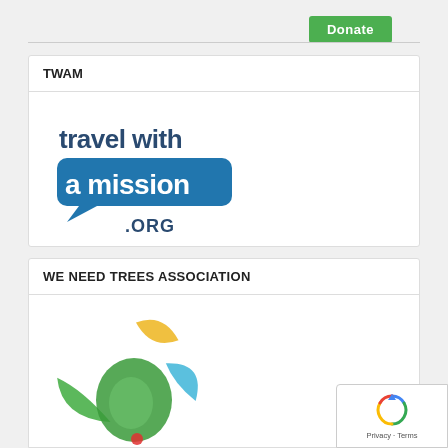[Figure (other): Green Donate button]
TWAM
[Figure (logo): Travel with a mission .org logo — text 'travel with' in dark blue/green, 'a mission' in white on blue speech bubble shape, '.ORG' below]
WE NEED TREES ASSOCIATION
[Figure (logo): We Need Trees Association logo — circular design with green, yellow, and blue leaf/hand shapes]
[Figure (other): Google reCAPTCHA badge with recycle icon and Privacy/Terms text]